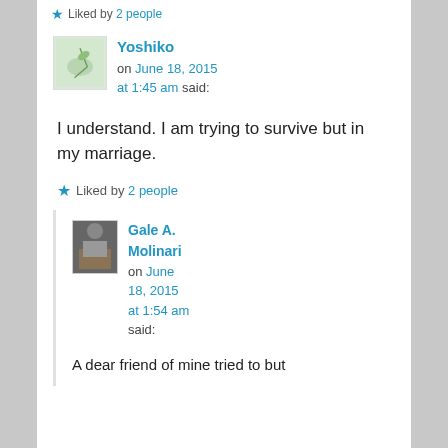★ Liked by 2 people
Yoshiko on June 18, 2015 at 1:45 am said:
I understand. I am trying to survive but in my marriage.
★ Liked by 2 people
Gale A. Molinari on June 18, 2015 at 1:54 am said:
A dear friend of mine tried to but